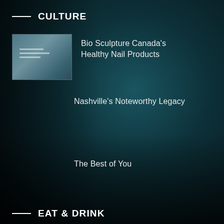CULTURE
Bio Sculpture Canada’s Healthy Nail Products
Nashville’s Noteworthy Legacy
The Best of You
EAT & DRINK